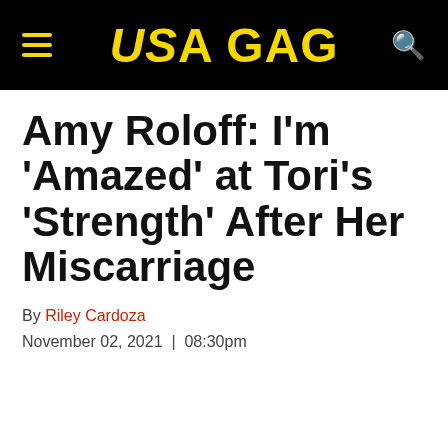USA GAG
Amy Roloff: I'm 'Amazed' at Tori's 'Strength' After Her Miscarriage
By Riley Cardoza
November 02, 2021  |  08:30pm